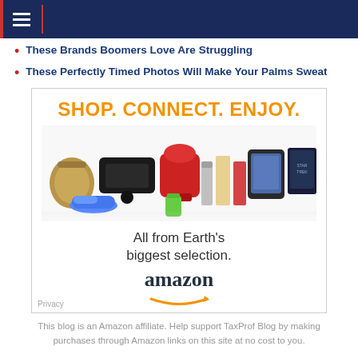Navigation bar with hamburger menu
These Brands Boomers Love Are Struggling
These Perfectly Timed Photos Will Make Your Palms Sweat
[Figure (infographic): Amazon advertisement showing 'SHOP. CONNECT. ENJOY.' in orange text, product images including a handbag, gaming console, stand mixer, tablet, thermos, books, and Star Trek movie, with tagline 'All from Earth's biggest selection.' and Amazon logo with arrow]
This blog is an Amazon affiliate. Help support TaxProf Blog by making purchases through Amazon links on this site at no cost to you.